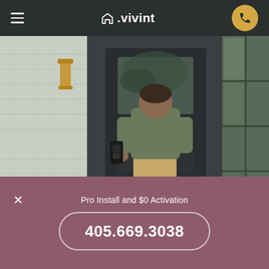vivint
[Figure (photo): Man viewed from behind standing at a dark front door of a house, reaching toward a smart lock. House has gray shingle siding and a brass wall light. Trees reflected in door glass.]
Industry-leading smart home
Pro Install and $0 Activation
405.669.3038